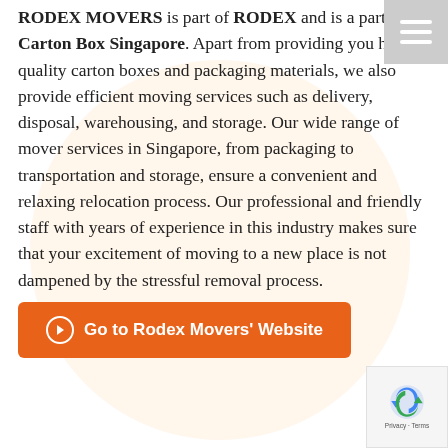RODEX MOVERS is part of RODEX and is a partner of Carton Box Singapore. Apart from providing you high-quality carton boxes and packaging materials, we also provide efficient moving services such as delivery, disposal, warehousing, and storage. Our wide range of mover services in Singapore, from packaging to transportation and storage, ensure a convenient and relaxing relocation process. Our professional and friendly staff with years of experience in this industry makes sure that your excitement of moving to a new place is not dampened by the stressful removal process.
Go to Rodex Movers' Website
[Figure (other): reCAPTCHA badge at bottom-right corner with Google logo and arrows icon]